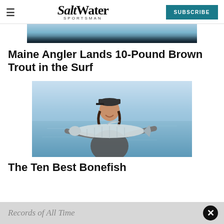Salt Water Sportsman — SUBSCRIBE
[Figure (photo): Partial top image of water/dark background, cropped at top of page]
Maine Angler Lands 10-Pound Brown Trout in the Surf
[Figure (photo): Young man smiling, holding a large bonefish horizontally, standing in calm flat water, wearing a gray hoodie and cap]
The Ten Best Bonefish
Records of All Time